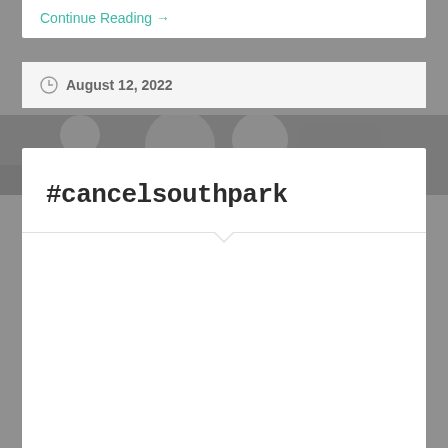Continue Reading →
August 12, 2022
[Figure (photo): Grayscale background photo of outdoor scene with trees]
#cancelsouthpark